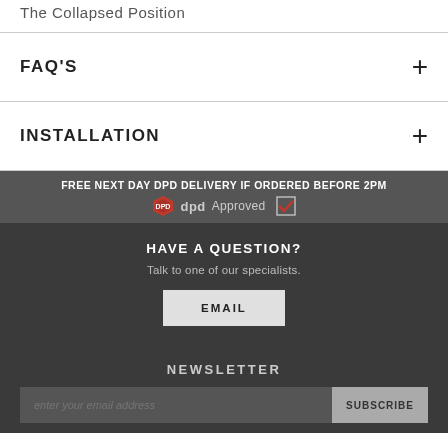The Collapsed Position
FAQ'S
INSTALLATION
FREE NEXT DAY DPD DELIVERY IF ORDERED BEFORE 2PM
dpd Approved
HAVE A QUESTION?
Talk to one of our specialists.
EMAIL
NEWSLETTER
enter your email address
SUBSCRIBE